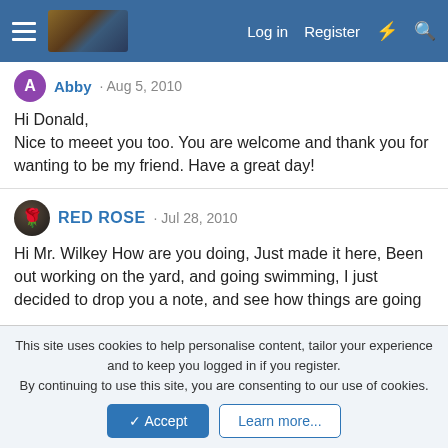Log in  Register
Abby · Aug 5, 2010
Hi Donald,
Nice to meeet you too. You are welcome and thank you for wanting to be my friend. Have a great day!
RED ROSE · Jul 28, 2010
Hi Mr. Wilkey How are you doing, Just made it here, Been out working on the yard, and going swimming, I just decided to drop you a note, and see how things are going

Love always

Red Rose
This site uses cookies to help personalise content, tailor your experience and to keep you logged in if you register.
By continuing to use this site, you are consenting to our use of cookies.